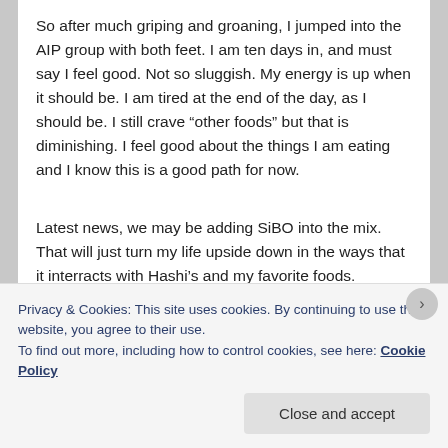So after much griping and groaning, I jumped into the AIP group with both feet.  I am ten days in, and must say I feel good.  Not so sluggish.  My energy is up when it should be.  I am tired at the end of the day, as I should be.  I still crave “other foods” but that is diminishing.  I feel good about the things I am eating and I know this is a good path for now.
Latest news, we may be adding SiBO into the mix.  That will just turn my life upside down in the ways that it interracts with Hashi’s and my favorite foods.
But for now, sticking with the AIP.  Simply put, its a Whole 30 on steroids!  Strict Paleo.  Plus some other
Privacy & Cookies: This site uses cookies. By continuing to use this website, you agree to their use.
To find out more, including how to control cookies, see here: Cookie Policy